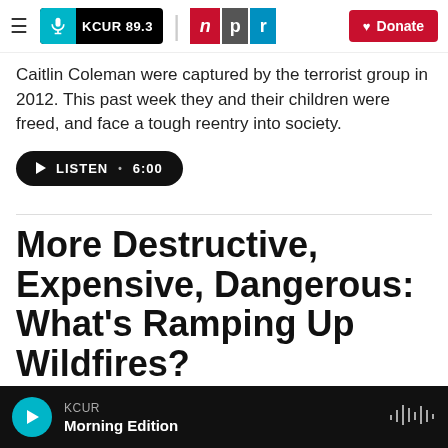KCUR 89.3 | npr | Donate
Caitlin Coleman were captured by the terrorist group in 2012. This past week they and their children were freed, and face a tough reentry into society.
LISTEN • 6:00
More Destructive, Expensive, Dangerous: What's Ramping Up Wildfires?
Renee Montagne,  October 15, 2017
KCUR Morning Edition